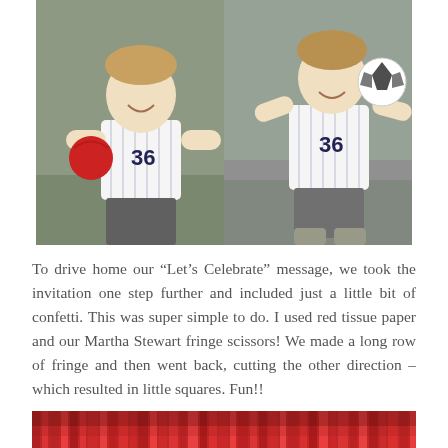[Figure (photo): Two side-by-side photos of a young toddler boy wearing a white pinstripe baseball jersey with the number 36. Left photo: boy holds a red ball outdoors near a chain-link fence. Right photo: same boy holds a black-and-white soccer ball, standing on pavement.]
To drive home our “Let’s Celebrate” message, we took the invitation one step further and included just a little bit of confetti. This was super simple to do. I used red tissue paper and our Martha Stewart fringe scissors! We made a long row of fringe and then went back, cutting the other direction – which resulted in little squares. Fun!!
[Figure (photo): Close-up photo of red tissue paper fringe/confetti pieces in various shades of red.]